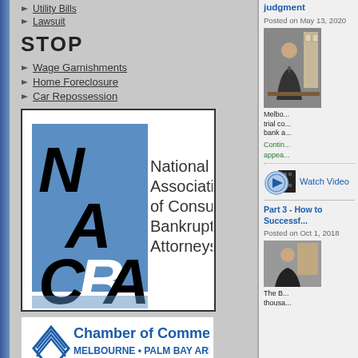Utility Bills
Lawsuit
STOP
Wage Garnishments
Home Foreclosure
Car Repossession
[Figure (logo): NACBA - National Association of Consumer Bankruptcy Attorneys logo]
[Figure (logo): Chamber of Commerce Melbourne Palm Bay Area logo, www.melpb-chamber.org]
[Figure (logo): MasterCard and Visa credit card logos]
judgment
Posted on May 13, 2020
[Figure (photo): Photo of a man in suit sitting at a desk]
Melbo... trial co... bank a...
Contin... appea...
[Figure (other): Video play button icon with film strip]
Watch Video
Part 3 - How to Successf...
Posted on Oct 1, 2018
[Figure (photo): Photo of a person]
The B... thousa...